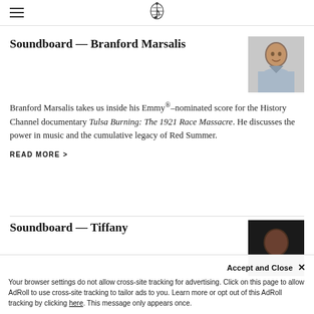Soundboard — Branford Marsalis
[Figure (photo): Headshot of Branford Marsalis, a man in a light blue shirt, smiling]
Branford Marsalis takes us inside his Emmy®-nominated score for the History Channel documentary Tulsa Burning: The 1921 Race Massacre. He discusses the power in music and the cumulative legacy of Red Summer.
READ MORE >
Soundboard — Tiffany
[Figure (photo): Dark headshot thumbnail, partially visible]
Your browser settings do not allow cross-site tracking for advertising. Click on this page to allow AdRoll to use cross-site tracking to tailor ads to you. Learn more or opt out of this AdRoll tracking by clicking here. This message only appears once.